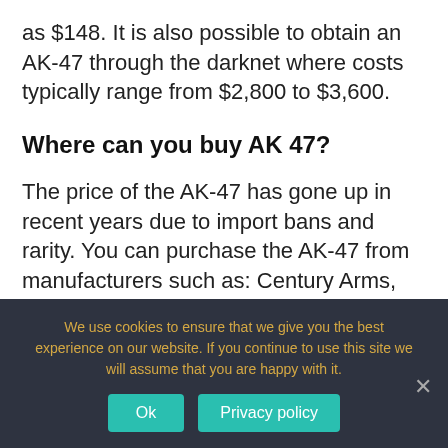as $148. It is also possible to obtain an AK-47 through the darknet where costs typically range from $2,800 to $3,600.
Where can you buy AK 47?
The price of the AK-47 has gone up in recent years due to import bans and rarity. You can purchase the AK-47 from manufacturers such as: Century Arms, IWI, Kalashnikov, and Arsenal, and there are imports available from Romania, Russia, and other
We use cookies to ensure that we give you the best experience on our website. If you continue to use this site we will assume that you are happy with it.